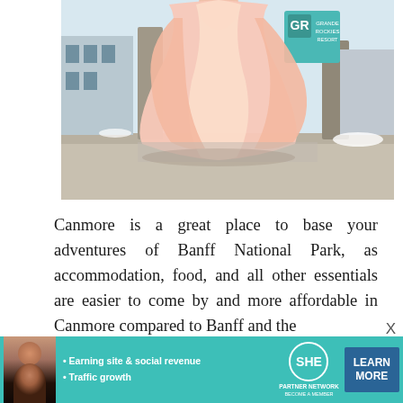[Figure (photo): A woman in a flowing pink/peach ball gown dress spinning outdoors in front of the Grande Rockies Resort building sign, with snow visible in background. The dress billows out dramatically around her.]
Canmore is a great place to base your adventures of Banff National Park, as accommodation, food, and all other essentials are easier to come by and more affordable in Canmore compared to Banff and the
[Figure (infographic): Advertisement banner for SHE Partner Network. Teal/turquoise background with woman's photo on left. Text reads: Earning site & social revenue, Traffic growth. SHE Partner Network logo in center. Blue LEARN MORE button on right.]